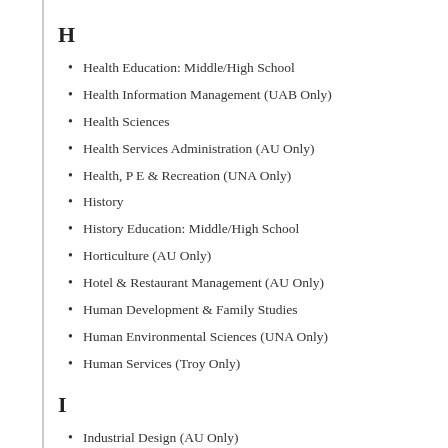H
Health Education: Middle/High School
Health Information Management (UAB Only)
Health Sciences
Health Services Administration (AU Only)
Health, P E & Recreation (UNA Only)
History
History Education: Middle/High School
Horticulture (AU Only)
Hotel & Restaurant Management (AU Only)
Human Development & Family Studies
Human Environmental Sciences (UNA Only)
Human Services (Troy Only)
I
Industrial Design (AU Only)